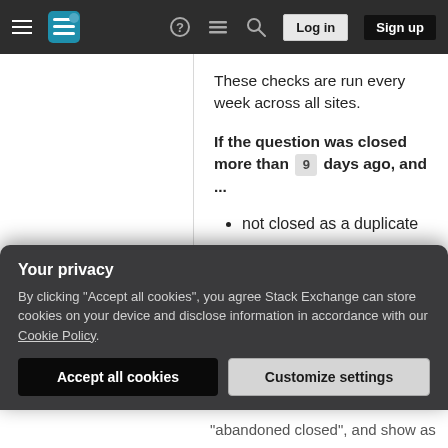Stack Exchange navigation bar with hamburger menu, logo, help, chat, search icons, Log in and Sign up buttons
These checks are run every week across all sites.
If the question was closed more than 9 days ago, and ...
not closed as a duplicate
has a score of 0 or less
is not locked
has no answers with a score > 0
Your privacy
By clicking "Accept all cookies", you agree Stack Exchange can store cookies on your device and disclose information in accordance with our Cookie Policy.
"abandoned closed", and show as